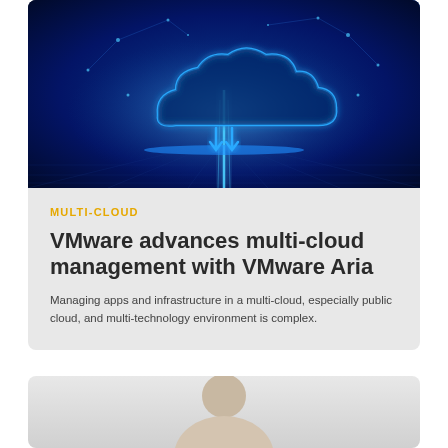[Figure (illustration): Blue glowing cloud icon with network connections on dark blue digital background with light beams]
MULTI-CLOUD
VMware advances multi-cloud management with VMware Aria
Managing apps and infrastructure in a multi-cloud, especially public cloud, and multi-technology environment is complex.
[Figure (photo): Partial photo of a person, cropped at bottom of page]